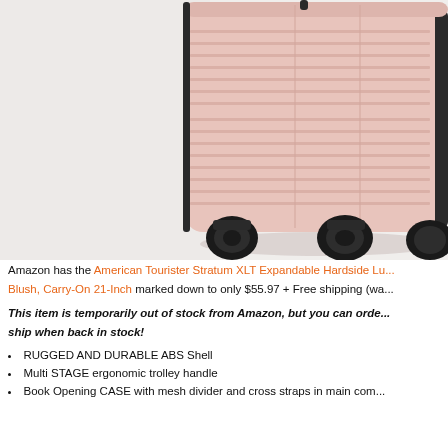[Figure (photo): Pink/blush hardside spinner carry-on suitcase (American Tourister Stratum XLT) shown against white/light gray background, bottom portion visible with four black spinner wheels.]
Amazon has the American Tourister Stratum XLT Expandable Hardside Lu... Blush, Carry-On 21-Inch marked down to only $55.97 + Free shipping (wa...
This item is temporarily out of stock from Amazon, but you can orde... ship when back in stock!
RUGGED AND DURABLE ABS Shell
Multi STAGE ergonomic trolley handle
Book Opening CASE with mesh divider and cross straps in main com...